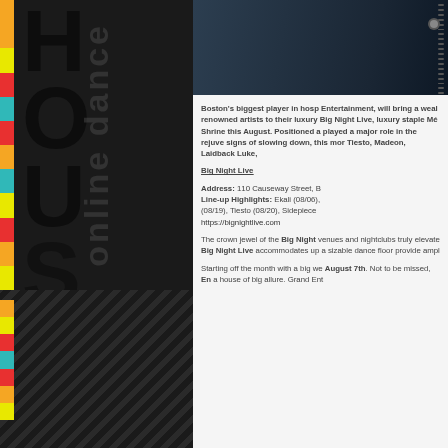[Figure (illustration): Left panel with dark background showing colorful logo letters H, O, U, S with multi-color vertical bars (orange, yellow, red, teal) and diagonal text 'online dance' overlaid in grey]
[Figure (photo): Top right photo showing a dark jacket or clothing item with zipper detail]
Boston's biggest player in hosp Entertainment, will bring a wealt renowned artists to their luxury Big Night Live, luxury staple Mé Shrine this August. Positioned a played a major role in the rejuve signs of slowing down, this mor Tiesto, Madeon, Laidback Luke,
Big Night Live
Address: 110 Causeway Street, B
Line-up Highlights: Ekali (08/06), (08/19), Tiesto (08/20), Sidepiece
https://bignightlive.com
The crown jewel of the Big Night venues and nightclubs truly elevate Big Night Live accommodates up a sizable dance floor provide ampl
Starting off the month with a big we August 7th. Not to be missed, En a house of big allure. Grand Ent